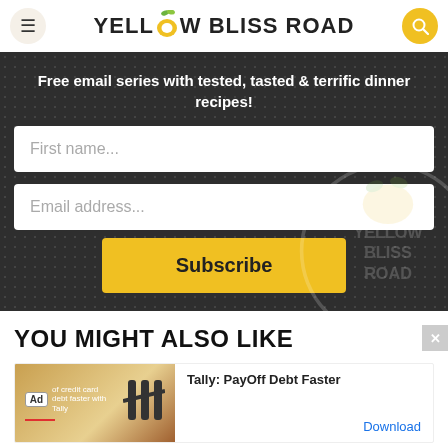YELLOW BLISS ROAD
Free email series with tested, tasted & terrific dinner recipes!
First name...
Email address...
Subscribe
YOU MIGHT ALSO LIKE
[Figure (screenshot): Ad banner for Tally: PayOff Debt Faster with Download link]